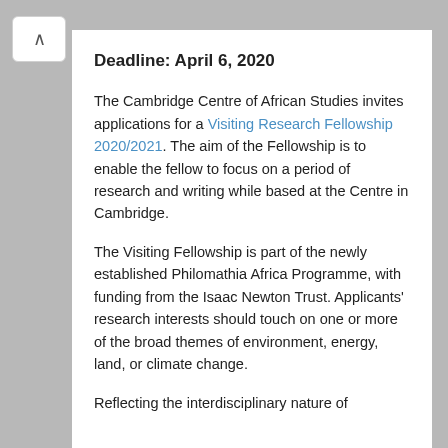Deadline: April 6, 2020
The Cambridge Centre of African Studies invites applications for a Visiting Research Fellowship 2020/2021. The aim of the Fellowship is to enable the fellow to focus on a period of research and writing while based at the Centre in Cambridge.
The Visiting Fellowship is part of the newly established Philomathia Africa Programme, with funding from the Isaac Newton Trust. Applicants' research interests should touch on one or more of the broad themes of environment, energy, land, or climate change.
Reflecting the interdisciplinary nature of